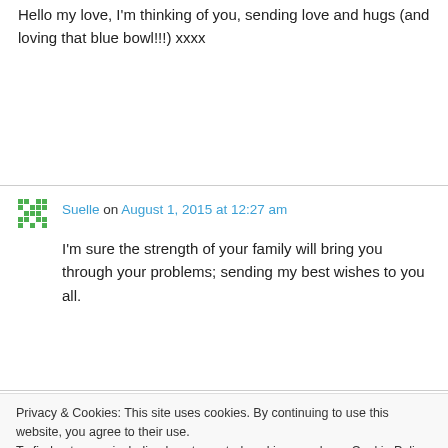Hello my love, I'm thinking of you, sending love and hugs (and loving that blue bowl!!!) xxxx
Suelle on August 1, 2015 at 12:27 am
I'm sure the strength of your family will bring you through your problems; sending my best wishes to you all.
Madge on August 1, 2015 at 12:29 am
Privacy & Cookies: This site uses cookies. By continuing to use this website, you agree to their use.
To find out more, including how to control cookies, see here: Cookie Policy